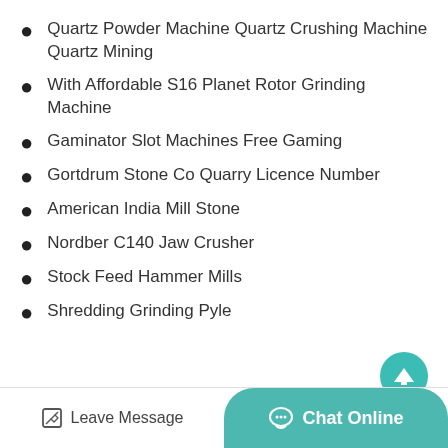Quartz Powder Machine Quartz Crushing Machine Quartz Mining
With Affordable S16 Planet Rotor Grinding Machine
Gaminator Slot Machines Free Gaming
Gortdrum Stone Co Quarry Licence Number
American India Mill Stone
Nordber C140 Jaw Crusher
Stock Feed Hammer Mills
Shredding Grinding Pyle
Leave Message  Chat Online